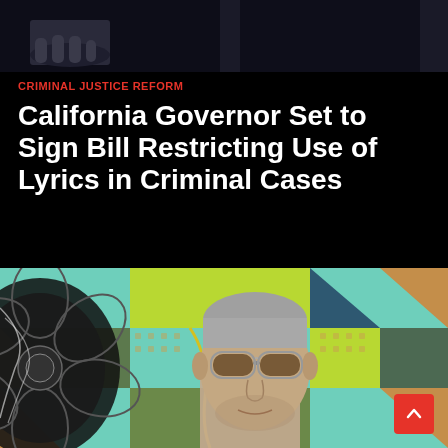[Figure (photo): Partial top image showing a person's hands against a dark background, cropped at the top of the page]
CRIMINAL JUSTICE REFORM
California Governor Set to Sign Bill Restricting Use of Lyrics in Criminal Cases
[Figure (photo): Man with grey hair and aviator sunglasses standing in front of a colorful tiled wall with floral and geometric patterns in teal, green, orange, and dark blue]